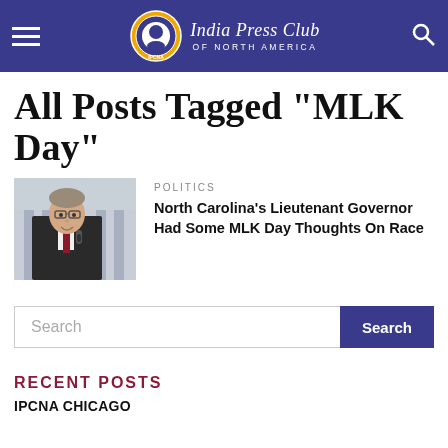India Press Club OF NORTH AMERICA
All Posts Tagged "MLK Day"
[Figure (photo): Photo of a man in a dark suit and red tie, speaking into a microphone outdoors]
POLITICS
North Carolina's Lieutenant Governor Had Some MLK Day Thoughts On Race
RECENT POSTS
IPCNA CHICAGO